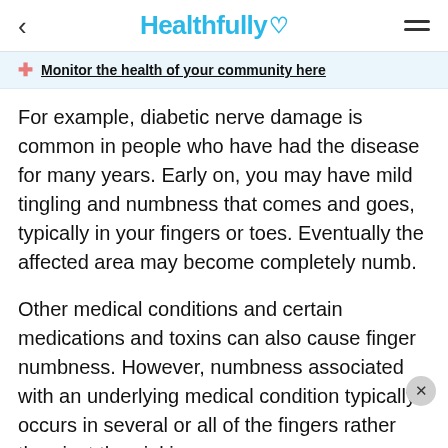Healthfully
Monitor the health of your community here
For example, diabetic nerve damage is common in people who have had the disease for many years. Early on, you may have mild tingling and numbness that comes and goes, typically in your fingers or toes. Eventually the affected area may become completely numb.
Other medical conditions and certain medications and toxins can also cause finger numbness. However, numbness associated with an underlying medical condition typically occurs in several or all of the fingers rather than just the pinkie.